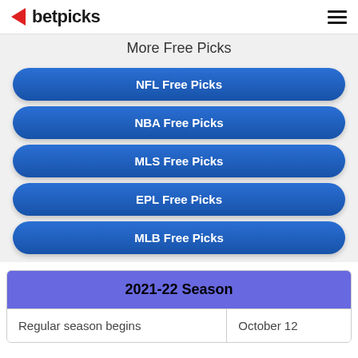betpicks
More Free Picks
NFL Free Picks
NBA Free Picks
MLS Free Picks
EPL Free Picks
MLB Free Picks
| 2021-22 Season |  |
| --- | --- |
| Regular season begins | October 12 |